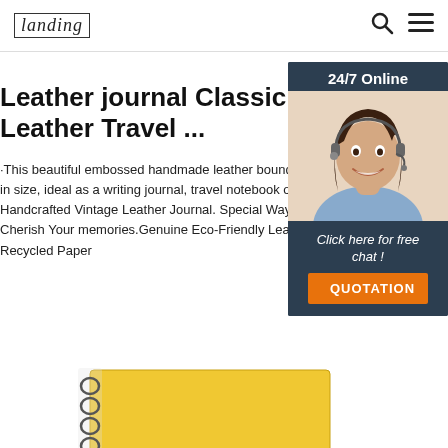landing | search | menu
Leather journal Classic Retro Vintage Leather Travel ...
·This beautiful embossed handmade leather bound jo in size, ideal as a writing journal, travel notebook or d Handcrafted Vintage Leather Journal. Special Way To Cherish Your memories.Genuine Eco-Friendly Leathe Recycled Paper
[Figure (photo): Customer service representative woman with headset smiling, 24/7 Online chat widget with QUOTATION button]
[Figure (photo): Yellow spiral notebook partially visible at bottom of page]